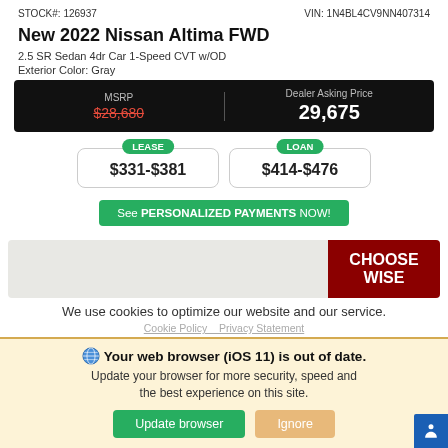STOCK#: 126937   VIN: 1N4BL4CV9NN407314
New 2022 Nissan Altima FWD
2.5 SR Sedan 4dr Car 1-Speed CVT w/OD
Exterior Color: Gray
| MSRP | Dealer Asking Price |
| --- | --- |
| $28,680 (strikethrough) | 29,675 |
LEASE $331-$381
LOAN $414-$476
See PERSONALIZED PAYMENTS NOW!
[Figure (screenshot): CHOOSE WISE banner in dark red]
We use cookies to optimize our website and our service.
Cookie Policy   Privacy Statement
Your web browser (iOS 11) is out of date. Update your browser for more security, speed and the best experience on this site.
Update browser   Ignore